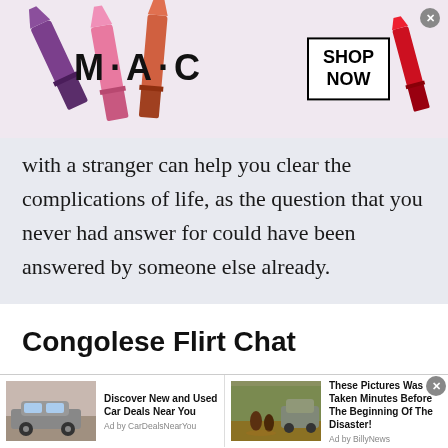[Figure (photo): MAC cosmetics advertisement banner with colorful lipsticks on left and right sides, MAC logo in center, 'SHOP NOW' button in a box, and a close button in top right corner.]
with a stranger can help you clear the complications of life, as the question that you never had answer for could have been answered by someone else already.
Congolese Flirt Chat
[Figure (infographic): Two advertisement units side by side. Left ad: car image with text 'Discover New and Used Car Deals Near You' by CarDealsNearYou. Right ad: people and car in flood waters with text 'These Pictures Was Taken Minutes Before The Beginning Of The Disaster!' by BillyNews. Close button in top right.]